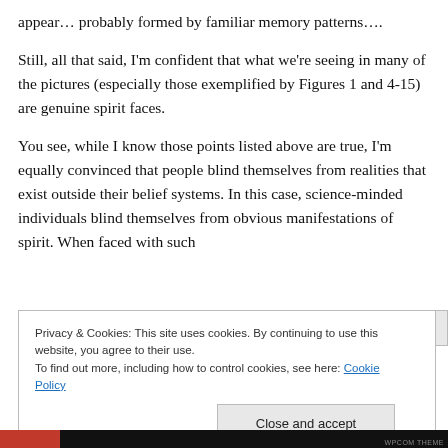appear… probably formed by familiar memory patterns….
Still, all that said, I'm confident that what we're seeing in many of the pictures (especially those exemplified by Figures 1 and 4-15) are genuine spirit faces.
You see, while I know those points listed above are true, I'm equally convinced that people blind themselves from realities that exist outside their belief systems. In this case, science-minded individuals blind themselves from obvious manifestations of spirit. When faced with such
Privacy & Cookies: This site uses cookies. By continuing to use this website, you agree to their use.
To find out more, including how to control cookies, see here: Cookie Policy
Close and accept